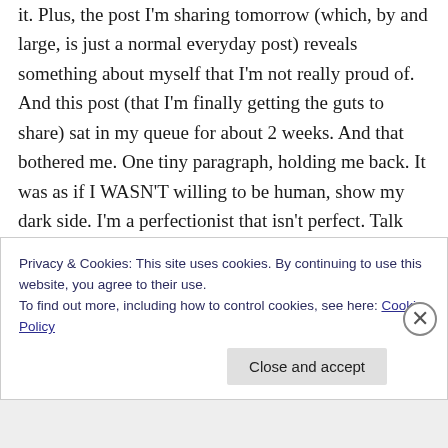it. Plus, the post I'm sharing tomorrow (which, by and large, is just a normal everyday post) reveals something about myself that I'm not really proud of. And this post (that I'm finally getting the guts to share) sat in my queue for about 2 weeks. And that bothered me. One tiny paragraph, holding me back. It was as if I WASN'T willing to be human, show my dark side. I'm a perfectionist that isn't perfect. Talk about an inner struggle! But it's so good to hear that I'm not alone. That many of you struggle,
Privacy & Cookies: This site uses cookies. By continuing to use this website, you agree to their use.
To find out more, including how to control cookies, see here: Cookie Policy